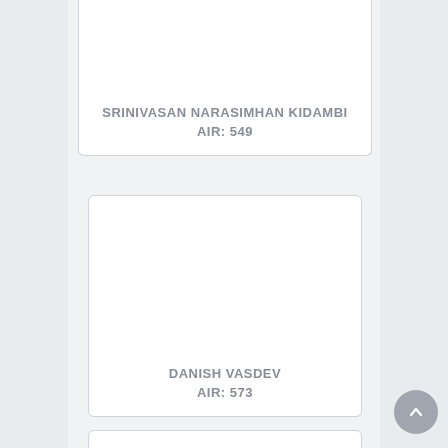[Figure (photo): Profile card for Srinivasan Narasimhan Kidambi, showing a blank white photo area at top and name/AIR below]
SRINIVASAN NARASIMHAN KIDAMBI
AIR: 549
[Figure (photo): Profile card for Danish Vasdev, showing a blank white photo area and name/AIR below]
DANISH VASDEV
AIR: 573
[Figure (photo): Partial profile card at bottom, showing only the top portion with blank white photo area]